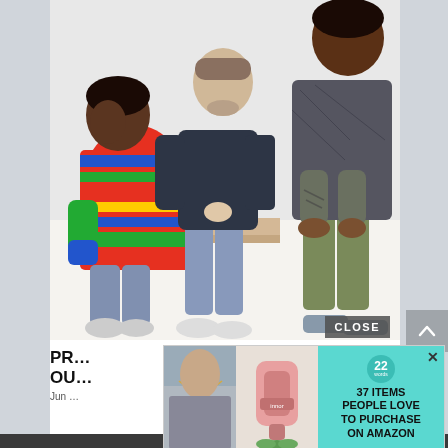[Figure (photo): Three young men sitting together on a white surface against a white background. Left man wears a colorful striped sweater and looks to the side. Middle man wears a dark navy sweatshirt and jeans. Right man wears a herringbone jacket and olive pants with tattooed arms.]
CLOSE
PR... gs OU...
Jun ...
[Figure (screenshot): Advertisement overlay with teal/turquoise background. Left section shows a woman wearing a necklace. Middle section shows a pink wall-mounted device (Innor brand). Right section shows a circular badge with '22' and text reading '37 ITEMS PEOPLE LOVE TO PURCHASE ON AMAZON'. Has an X close button in top right corner.]